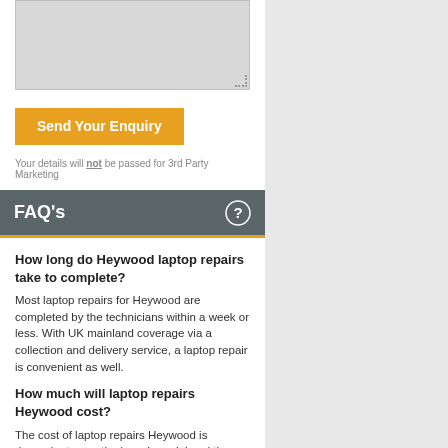[Figure (screenshot): Text area input box (form field) with resize handle, partially shown at top of page]
Send Your Enquiry
Your details will not be passed for 3rd Party Marketing
FAQ's
How long do Heywood laptop repairs take to complete?
Most laptop repairs for Heywood are completed by the technicians within a week or less. With UK mainland coverage via a collection and delivery service, a laptop repair is convenient as well.
How much will laptop repairs Heywood cost?
The cost of laptop repairs Heywood is dependent upon the brand, model and the problem you're having with it. The technicians always aim to offer an affordable service and in the vast majority of cases, a laptop repair will cost much less than a